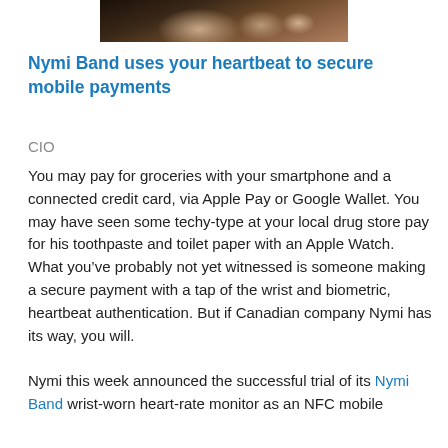[Figure (photo): Close-up photo of a hand or fingers, partially visible at top of page, dark background]
Nymi Band uses your heartbeat to secure mobile payments
CIO
You may pay for groceries with your smartphone and a connected credit card, via Apple Pay or Google Wallet. You may have seen some techy-type at your local drug store pay for his toothpaste and toilet paper with an Apple Watch. What you’ve probably not yet witnessed is someone making a secure payment with a tap of the wrist and biometric, heartbeat authentication. But if Canadian company Nymi has its way, you will.

Nymi this week announced the successful trial of its Nymi Band wrist-worn heart-rate monitor as an NFC mobile payment device, in what they describe as a di...